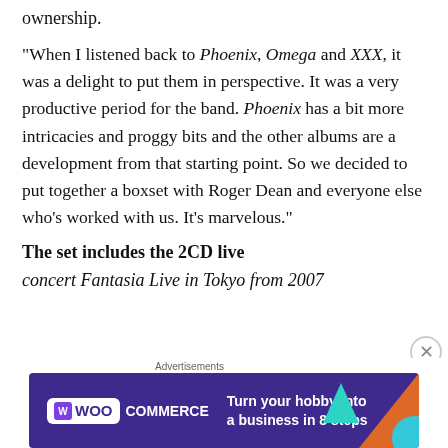ownership.
“When I listened back to Phoenix, Omega and XXX, it was a delight to put them in perspective. It was a very productive period for the band. Phoenix has a bit more intricacies and proggy bits and the other albums are a development from that starting point. So we decided to put together a boxset with Roger Dean and everyone else who’s worked with us. It’s marvelous.”
The set includes the 2CD live
concert Fantasia Live in Tokyo from 2007
[Figure (other): WooCommerce advertisement banner: purple background with WooCommerce logo, teal triangle, orange triangle, cyan circle, text reading 'Turn your hobby into a business in 8 steps']